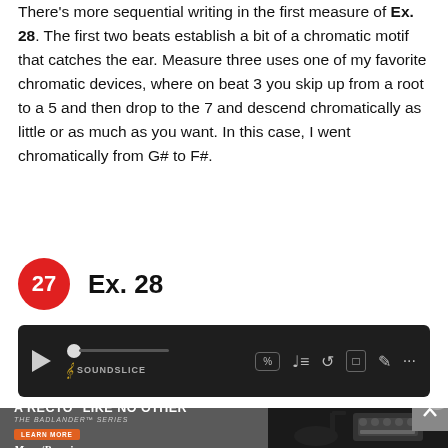There's more sequential writing in the first measure of Ex. 28. The first two beats establish a bit of a chromatic motif that catches the ear. Measure three uses one of my favorite chromatic devices, where on beat 3 you skip up from a root to a 5 and then drop to the 7 and descend chromatically as little or as much as you want. In this case, I went chromatically from G# to F#.
27  Ex. 28
[Figure (screenshot): Soundslice audio player bar with play button, progress indicator, Soundslice logo, and playback controls including speed (%), loop, repeat, fullscreen, and metronome icons.]
[Figure (screenshot): Advertisement banner: 'A RECTO LIKE NO OTHER - THE BADLANDER SERIES' by Mesa/Boogie with a guitar amplifier and electric guitar image.]